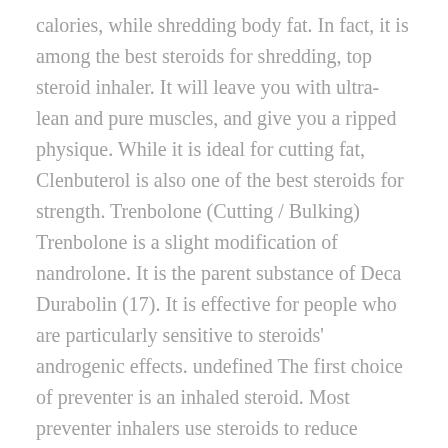calories, while shredding body fat. In fact, it is among the best steroids for shredding, top steroid inhaler. It will leave you with ultra-lean and pure muscles, and give you a ripped physique. While it is ideal for cutting fat, Clenbuterol is also one of the best steroids for strength. Trenbolone (Cutting / Bulking) Trenbolone is a slight modification of nandrolone. It is the parent substance of Deca Durabolin (17). It is effective for people who are particularly sensitive to steroids' androgenic effects. undefined The first choice of preventer is an inhaled steroid. Most preventer inhalers use steroids to reduce inflammation of the airways. Talk to your doctor about the best inhaler device for you. Because inhaled corticosteroids deliver the medicine directly into the lungs, much smaller doses of corticosteroid are needed to effectively control asthma. Preventer inhaler top tips. What is a preventer inhaler?